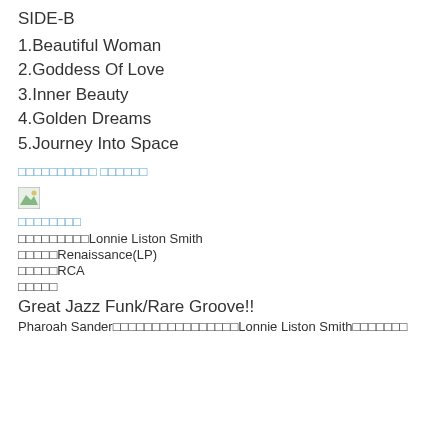SIDE-B
1.Beautiful Woman
2.Goddess Of Love
3.Inner Beauty
4.Golden Dreams
5.Journey Into Space
□□□□□□□□□□ □□□□□□
[Figure (photo): Small image icon]
□□□□□□□□
□□□□□□□□□Lonnie Liston Smith
□□□□□Renaissance(LP)
□□□□□RCA
□□□□□
Great Jazz Funk/Rare Groove!!
Pharoah Sander□□□□□□□□□□□□□□□□Lonnie Liston Smith□□□□□□□